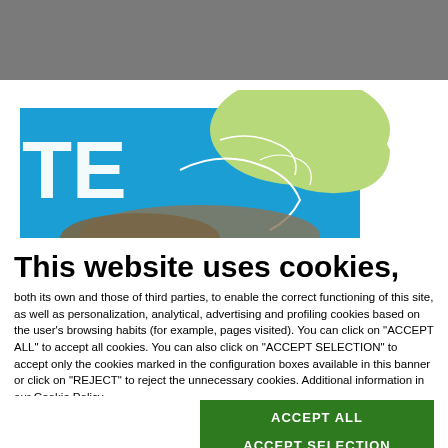[Figure (screenshot): Gray header area of a website, partially obscured]
[Figure (map): Partial map image showing blue water areas and green land areas with white outlines, with large white text 'TE' visible on the left side on a blue background]
This website uses cookies,
both its own and those of third parties, to enable the correct functioning of this site, as well as personalization, analytical, advertising and profiling cookies based on the user's browsing habits (for example, pages visited). You can click on "ACCEPT ALL" to accept all cookies. You can also click on "ACCEPT SELECTION" to accept only the cookies marked in the configuration boxes available in this banner or click on "REJECT" to reject the unnecessary cookies. Additional information in our Cookie Policy.
ACCEPT ALL
ACCEPT SELECTION